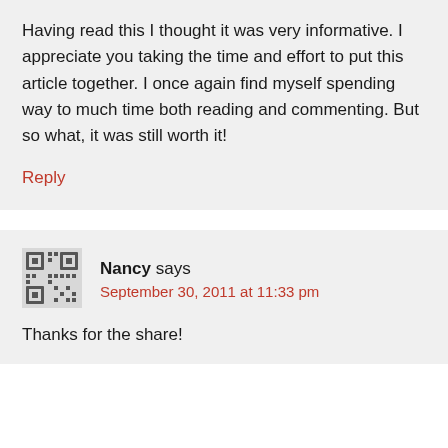Having read this I thought it was very informative. I appreciate you taking the time and effort to put this article together. I once again find myself spending way to much time both reading and commenting. But so what, it was still worth it!
Reply
[Figure (other): Avatar/gravatar image for commenter Nancy — a pixelated QR-code style avatar in dark gray on light background]
Nancy says
September 30, 2011 at 11:33 pm
Thanks for the share!